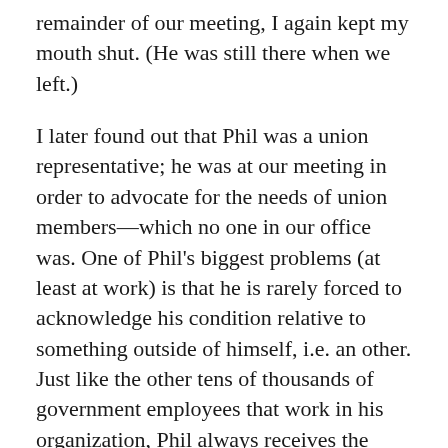remainder of our meeting, I again kept my mouth shut. (He was still there when we left.)
I later found out that Phil was a union representative; he was at our meeting in order to advocate for the needs of union members—which no one in our office was. One of Phil's biggest problems (at least at work) is that he is rarely forced to acknowledge his condition relative to something outside of himself, i.e. an other. Just like the other tens of thousands of government employees that work in his organization, Phil always receives the highest score possible on his yearly evaluations, regardless of his activities and performance. (His rater's life gets a whole lot more uncomfortable if anything less than a perfect score is reported.) On top of that, it would take criminal activity or a very,